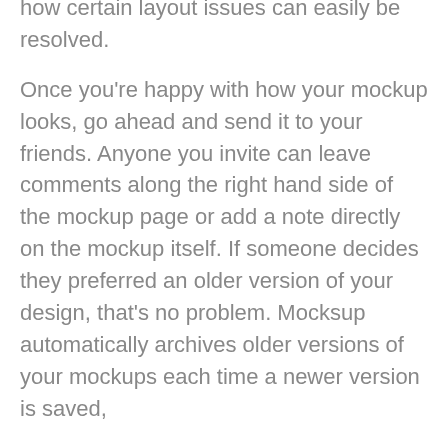how certain layout issues can easily be resolved.
Once you're happy with how your mockup looks, go ahead and send it to your friends. Anyone you invite can leave comments along the right hand side of the mockup page or add a note directly on the mockup itself. If someone decides they preferred an older version of your design, that's no problem. Mocksup automatically archives older versions of your mockups each time a newer version is saved,